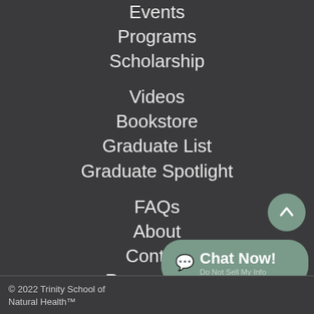Events
Programs
Scholarship
Videos
Bookstore
Graduate List
Graduate Spotlight
FAQs
About
Contact
Request Info
© 2022 Trinity School of Natural Health™